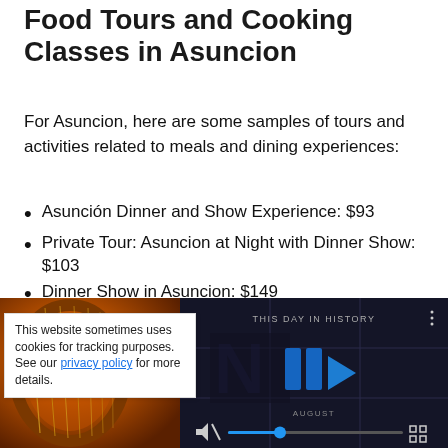Food Tours and Cooking Classes in Asuncion
For Asuncion, here are some samples of tours and activities related to meals and dining experiences:
Asunción Dinner and Show Experience: $93
Private Tour: Asuncion at Night with Dinner Show: $103
Dinner Show in Asuncion: $149
[Figure (photo): Close-up photo of a harp instrument with golden/orange warm tones]
[Figure (screenshot): Video player screenshot showing 'This Day in History' with play button and media controls, dark background with blue logos]
This website sometimes uses cookies for tracking purposes. See our privacy policy for more details.